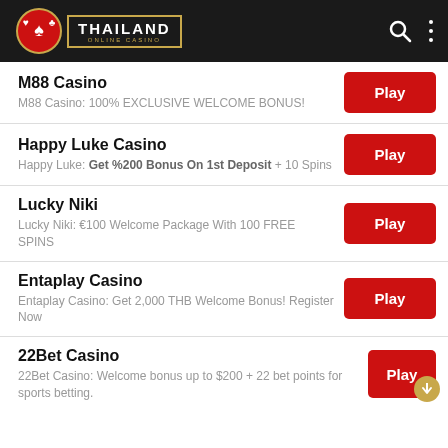Thailand Online Casino
M88 Casino — M88 Casino: 100% EXCLUSIVE WELCOME BONUS!
Happy Luke Casino — Happy Luke: Get %200 Bonus On 1st Deposit + 10 Spins
Lucky Niki — Lucky Niki: €100 Welcome Package With 100 FREE SPINS
Entaplay Casino — Entaplay Casino: Get 2,000 THB Welcome Bonus! Register Now
22Bet Casino — 22Bet Casino: Welcome bonus up to $200 + 22 bet points for sports betting.